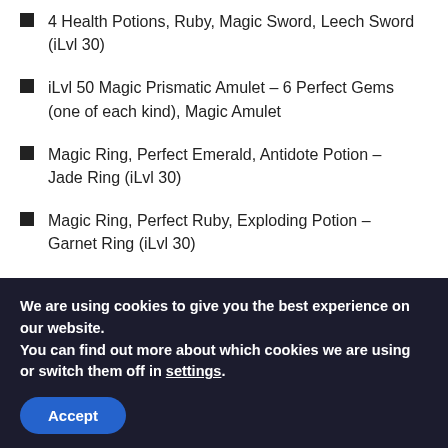4 Health Potions, Ruby, Magic Sword, Leech Sword (iLvl 30)
iLvl 50 Magic Prismatic Amulet – 6 Perfect Gems (one of each kind), Magic Amulet
Magic Ring, Perfect Emerald, Antidote Potion – Jade Ring (iLvl 30)
Magic Ring, Perfect Ruby, Exploding Potion – Garnet Ring (iLvl 30)
Coral Ring (iLvl 30) – Rejuvenation Potion, Perfect Topaz, Magic Ring
We are using cookies to give you the best experience on our website.
You can find out more about which cookies we are using or switch them off in settings.
Accept